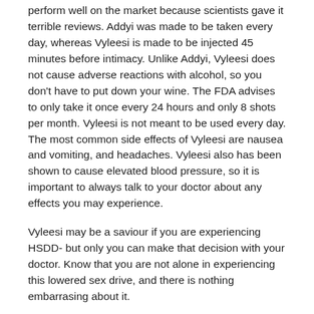perform well on the market because scientists gave it terrible reviews. Addyi was made to be taken every day, whereas Vyleesi is made to be injected 45 minutes before intimacy. Unlike Addyi, Vyleesi does not cause adverse reactions with alcohol, so you don't have to put down your wine. The FDA advises to only take it once every 24 hours and only 8 shots per month. Vyleesi is not meant to be used every day. The most common side effects of Vyleesi are nausea and vomiting, and headaches. Vyleesi also has been shown to cause elevated blood pressure, so it is important to always talk to your doctor about any effects you may experience.
Vyleesi may be a saviour if you are experiencing HSDD- but only you can make that decision with your doctor. Know that you are not alone in experiencing this lowered sex drive, and there is nothing embarrasing about it.